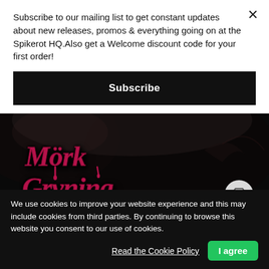Subscribe to our mailing list to get constant updates about new releases, promos & everything going on at the Spikerot HQ.Also get a Welcome discount code for your first order!
Subscribe
[Figure (photo): Dark metal album artwork with demonic figures and the band name 'Mörk Gryning' in red gothic lettering with a dripping effect, set against a dark cave-like background with winged creatures.]
We use cookies to improve your website experience and this may include cookies from third parties. By continuing to browse this website you consent to our use of cookies.
Read the Cookie Policy
I agree